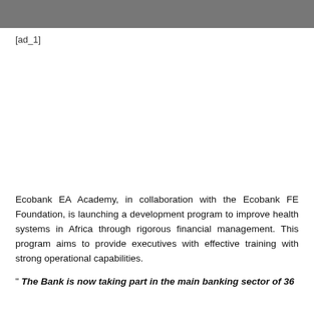[Figure (photo): Top portion of a photograph showing a person, cropped at the top of the page]
[ad_1]
Ecobank EA Academy, in collaboration with the Ecobank FE Foundation, is launching a development program to improve health systems in Africa through rigorous financial management. This program aims to provide executives with effective training with strong operational capabilities.
" The Bank is now taking part in the main banking sector of 36